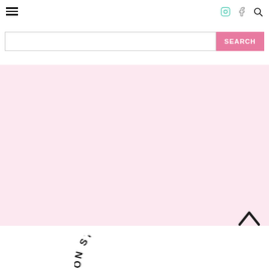Navigation bar with hamburger menu, Instagram icon, Facebook icon, Search icon
[Figure (screenshot): Search bar with text input field and pink SEARCH button]
[Figure (other): Large light pink rectangular area filling middle of page]
[Figure (other): Dark upward-pointing chevron arrow at bottom right]
ON STYLIST (arc text at bottom, partial)